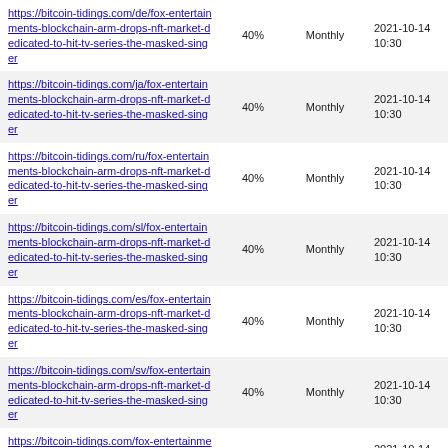| https://bitcoin-tidings.com/de/fox-entertainments-blockchain-arm-drops-nft-market-dedicated-to-hit-tv-series-the-masked-singer | 40% | Monthly | 2021-10-14 10:30 |
| https://bitcoin-tidings.com/ja/fox-entertainments-blockchain-arm-drops-nft-market-dedicated-to-hit-tv-series-the-masked-singer | 40% | Monthly | 2021-10-14 10:30 |
| https://bitcoin-tidings.com/ru/fox-entertainments-blockchain-arm-drops-nft-market-dedicated-to-hit-tv-series-the-masked-singer | 40% | Monthly | 2021-10-14 10:30 |
| https://bitcoin-tidings.com/sl/fox-entertainments-blockchain-arm-drops-nft-market-dedicated-to-hit-tv-series-the-masked-singer | 40% | Monthly | 2021-10-14 10:30 |
| https://bitcoin-tidings.com/es/fox-entertainments-blockchain-arm-drops-nft-market-dedicated-to-hit-tv-series-the-masked-singer | 40% | Monthly | 2021-10-14 10:30 |
| https://bitcoin-tidings.com/sv/fox-entertainments-blockchain-arm-drops-nft-market-dedicated-to-hit-tv-series-the-masked-singer | 40% | Monthly | 2021-10-14 10:30 |
| https://bitcoin-tidings.com/fox-entertainments-blockchain-arm-drops-nft-market-dedicated-to-hit-tv-series-the-masked-singer | 60% | Monthly | 2021-10-14 10:30 |
| https://bitcoin-tidings.com/da/st-louis-feds-james-bullard-would-support-starting-the-taper-in-november-to-react-to-inflation | 40% | Monthly | 2021-10-14 05:30 |
| https://bitcoin-tidings.com/et/st-louis-feds-james-bullard-would-support-starting-the-... | 40% | Monthly | 2021-10-14 05:30 |